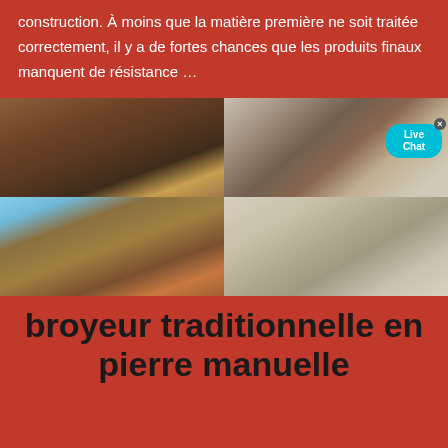construction. À moins que la matière première ne soit traitée correctement, il y a de fortes chances que les produits finaux manquent de résistance …
[Figure (photo): Four-panel grid of industrial mining and stone crushing equipment. Top-left: large conveyor belt systems with mounds of ore/aggregate material. Top-right: industrial crushing machinery with a Live Chat button overlay. Bottom-left: large screening/sorting equipment with stockpiles of material under blue sky. Bottom-right: quarry or mining site with stone crushing infrastructure and pale rock/gravel.]
broyeur traditionnelle en pierre manuelle